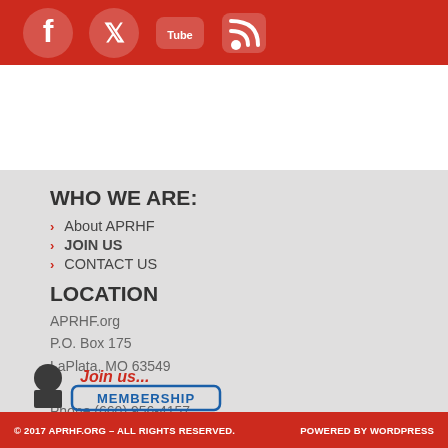[Figure (illustration): Red banner with social media icons: Facebook, Twitter, YouTube, RSS feed]
WHO WE ARE:
About APRHF
JOIN US
CONTACT US
LOCATION
APRHF.org
P.O. Box 175
LaPlata, MO 63549
Phone (660) 956-4157
email: info@aprhf.org
[Figure (illustration): Cartoon character with Join us... text and membership stamp graphic]
© 2017 APRHF.ORG – ALL RIGHTS RESERVED.     POWERED BY WORDPRESS